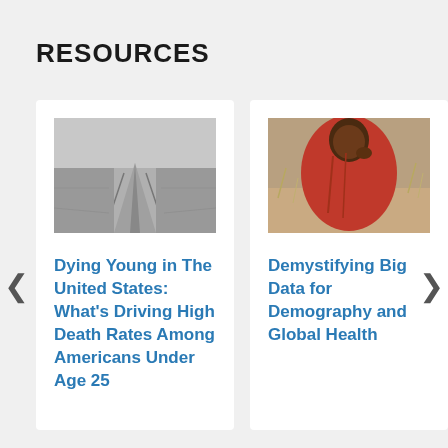RESOURCES
[Figure (photo): Black and white photo of a road or path with tracks]
Dying Young in The United States: What's Driving High Death Rates Among Americans Under Age 25
[Figure (photo): Photo of a man in red clothing, sitting and touching his face]
Demystifying Big Data for Demography and Global Health